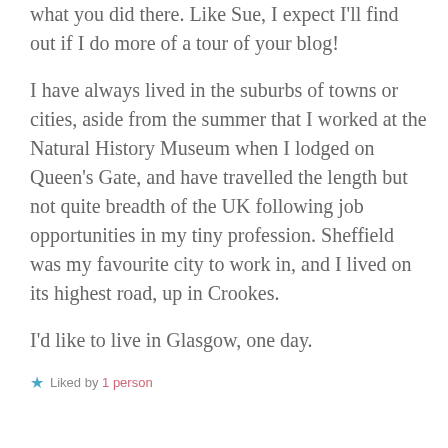what you did there. Like Sue, I expect I'll find out if I do more of a tour of your blog!
I have always lived in the suburbs of towns or cities, aside from the summer that I worked at the Natural History Museum when I lodged on Queen's Gate, and have travelled the length but not quite breadth of the UK following job opportunities in my tiny profession. Sheffield was my favourite city to work in, and I lived on its highest road, up in Crookes.
I'd like to live in Glasgow, one day.
★ Liked by 1 person